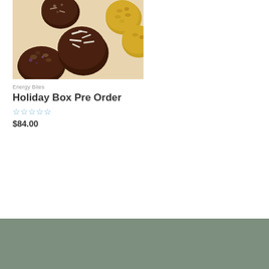[Figure (photo): Photo of assorted energy bites / chocolate balls with coconut and oat toppings on a light surface]
Energy Bites
Holiday Box Pre Order
[Figure (other): Five empty star rating icons in blue/light color]
$84.00
Add to cart